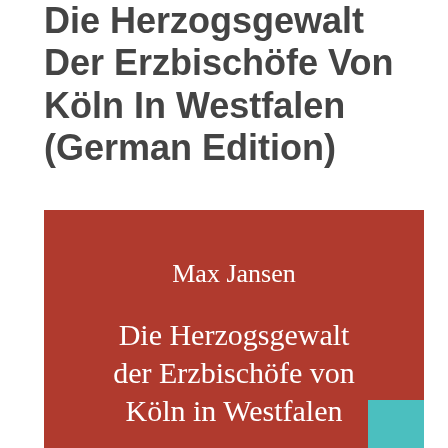Die Herzogsgewalt Der Erzbischöfe Von Köln In Westfalen (German Edition)
[Figure (illustration): Book cover with red/terracotta background showing author name 'Max Jansen' and title 'Die Herzogsgewalt der Erzbischöfe von Köln in Westfalen' in white serif text, with a teal square in the bottom-right corner.]